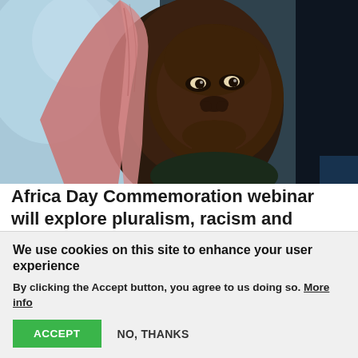[Figure (photo): Close-up portrait of a young African child wearing a pink/red cloth over their head, looking directly at the camera with a serious expression. Background is blurred with light colors.]
Africa Day Commemoration webinar will explore pluralism, racism and xenophobia
A webinar commemorating Africa Day on 24 May will
We use cookies on this site to enhance your user experience
By clicking the Accept button, you agree to us doing so. More info
ACCEPT
NO, THANKS